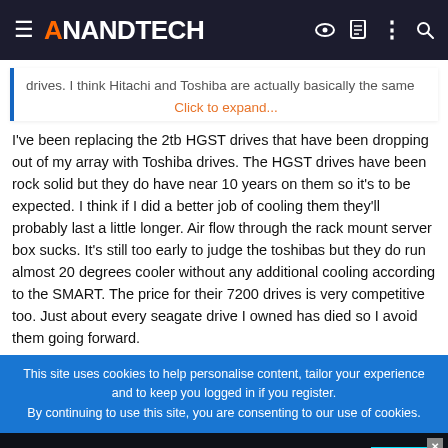AnandTech
drives. I think Hitachi and Toshiba are actually basically the same
Click to expand...
I've been replacing the 2tb HGST drives that have been dropping out of my array with Toshiba drives. The HGST drives have been rock solid but they do have near 10 years on them so it's to be expected. I think if I did a better job of cooling them they'll probably last a little longer. Air flow through the rack mount server box sucks. It's still too early to judge the toshibas but they do run almost 20 degrees cooler without any additional cooling according to the SMART. The price for their 7200 drives is very competitive too. Just about every seagate drive I owned has died so I avoid them going forward.
This site uses cookies to help personalise content, tailor your experience and to keep you logged in if you register.
By continuing to use this site, you are consenting to our use of cookies.
[Figure (screenshot): Tech Leadership Awards 2022 advertisement banner: Celebrating the people and products shaping the future of media technology. Nominate Today.]